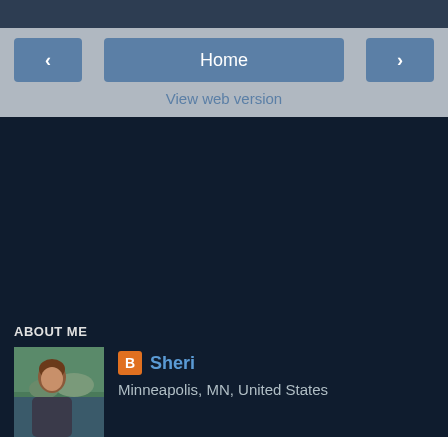Home
View web version
ABOUT ME
Sheri
Minneapolis, MN, United States